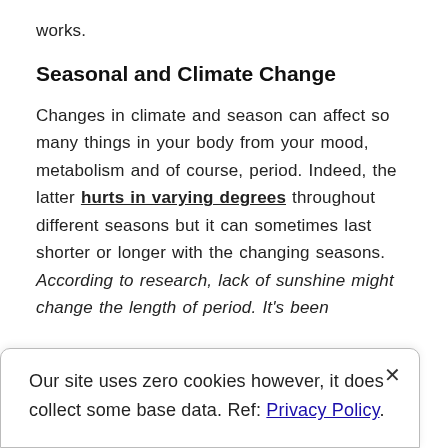works.
Seasonal and Climate Change
Changes in climate and season can affect so many things in your body from your mood, metabolism and of course, period. Indeed, the latter hurts in varying degrees throughout different seasons but it can sometimes last shorter or longer with the changing seasons. According to research, lack of sunshine might change the length of period. It's been
Our site uses zero cookies however, it does collect some base data. Ref: Privacy Policy.